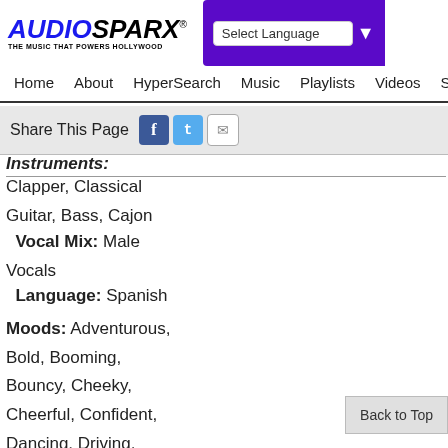AUDIOSPARX - THE MUSIC THAT POWERS HOLLYWOOD | Select Language | Home | About | HyperSearch | Music | Playlists | Videos | Sound
Share This Page
Instruments:
Clapper, Classical Guitar, Bass, Cajon
Vocal Mix: Male Vocals
Language: Spanish
Moods: Adventurous, Bold, Booming, Bouncy, Cheeky, Cheerful, Confident, Dancing, Driving, Energetic, Exotic, Festive, Free, Hot,